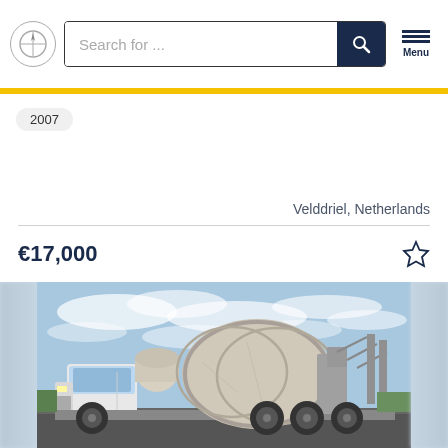Search for ...
2007
Velddriel, Netherlands
€17,000
[Figure (photo): Concrete mixer truck (white cab, large grey drum) parked on road with blue sky background. Listing photo for a 2007 vehicle priced at €17,000 in Velddriel, Netherlands.]